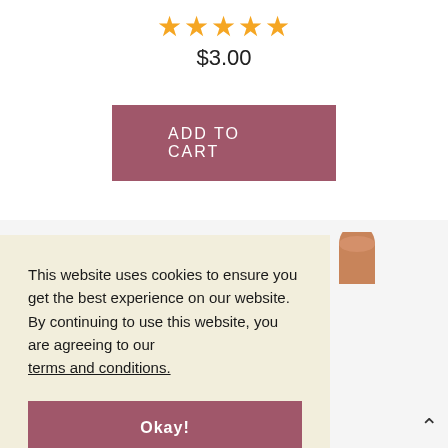★★★★★
$3.00
ADD TO CART
[Figure (photo): Partial view of a cosmetic pencil/lip liner product, showing the tip and cylindrical body with dark cap]
This website uses cookies to ensure you get the best experience on our website. By continuing to use this website, you are agreeing to our terms and conditions.
Okay!